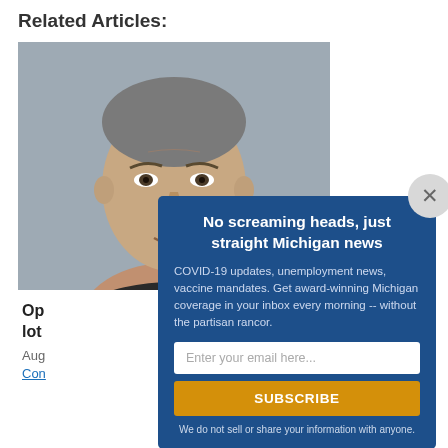Related Articles:
[Figure (photo): Headshot photo of a middle-aged man with grey hair against a light grey background]
No screaming heads, just straight Michigan news
COVID-19 updates, unemployment news, vaccine mandates. Get award-winning Michigan coverage in your inbox every morning -- without the partisan rancor.
Enter your email here...
SUBSCRIBE
We do not sell or share your information with anyone.
Op lot
Aug
Con